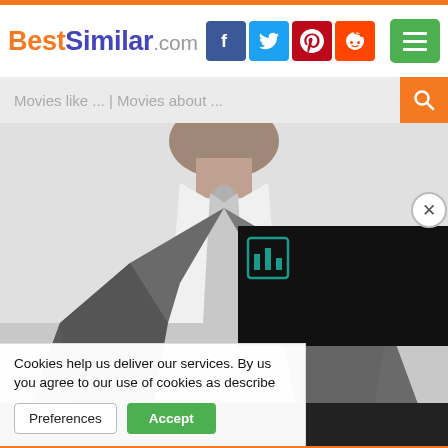[Figure (screenshot): BestSimilar.com website header with logo, social media icons (Facebook, Twitter, Pinterest, Reddit), green menu button, and search bar reading 'Movies like ... | Movies about ...']
[Figure (photo): Black and white photo of a man wearing a suit and tie, headless/cropped at shoulders and below, standing pose]
[Figure (other): Black advertisement panel with a Bandsintown teal logo icon in the upper left]
Cookies help us deliver our services. By us... you agree to our use of cookies as describe...
Preferences  Accept